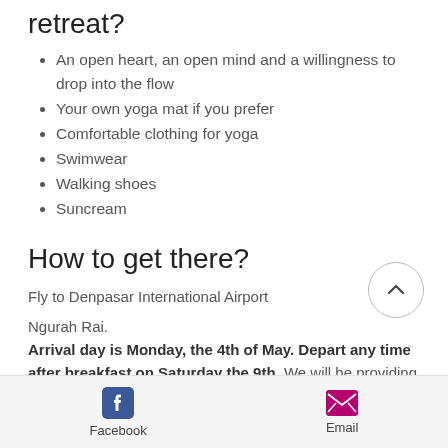retreat?
An open heart, an open mind and a willingness to drop into the flow
Your own yoga mat if you prefer
Comfortable clothing for yoga
Swimwear
Walking shoes
Suncream
How to get there?
Fly to Denpasar International Airport
Ngurah Rai.
Arrival day is Monday, the 4th of May. Depart any time after breakfast on Saturday the 9th. We will be providing supper on Monday evening and yoga and breakfast on Saturday morning. We can arrange airport transfers if you let
[Figure (other): Scroll-to-top button: circle with upward chevron arrow]
Facebook   Email